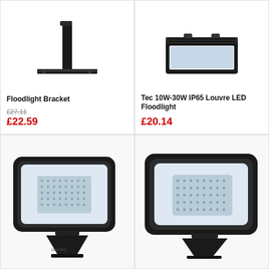[Figure (photo): Floodlight bracket with black metal base and vertical pole, viewed from below]
Floodlight Bracket
£27.11 (crossed out) £22.59
[Figure (photo): Tec 10W-30W IP65 Louvre LED Floodlight, black rectangular unit viewed from above]
Tec 10W-30W IP65 Louvre LED Floodlight
£20.14
[Figure (photo): Black LED floodlight 100W IP65 with adjustable bracket, angled view showing LED panel]
[Figure (photo): Black LED floodlight with adjustable bracket, slightly larger, angled view showing LED panel]